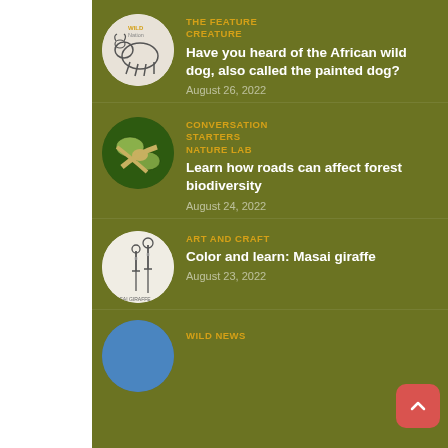THE FEATURE CREATURE — Have you heard of the African wild dog, also called the painted dog? — August 26, 2022
CONVERSATION STARTERS NATURE LAB — Learn how roads can affect forest biodiversity — August 24, 2022
ART AND CRAFT — Color and learn: Masai giraffe — August 23, 2022
WILD NEWS